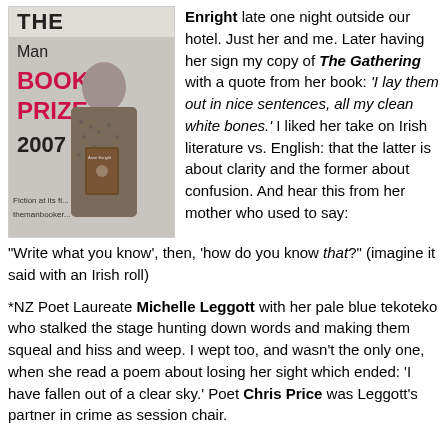[Figure (photo): Man Booker Prize 2007 book cover/poster showing a woman holding a book titled 'The Gathering' by Anne Enright. Text reads 'THE Man BOOKER PRIZE 2007' with 'Fiction at its fi...' and 'themanbooker...']
Enright late one night outside our hotel. Just her and me. Later having her sign my copy of The Gathering with a quote from her book: 'I lay them out in nice sentences, all my clean white bones.' I liked her take on Irish literature vs. English: that the latter is about clarity and the former about confusion. And hear this from her mother who used to say: "Write what you know', then, 'how do you know that?" (imagine it said with an Irish roll)
*NZ Poet Laureate Michelle Leggott with her pale blue tekoteko who stalked the stage hunting down words and making them squeal and hiss and weep. I wept too, and wasn't the only one, when she read a poem about losing her sight which ended: 'I have fallen out of a clear sky.' Poet Chris Price was Leggott's partner in crime as session chair.